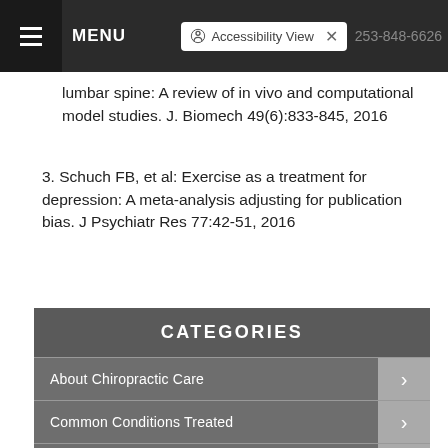MENU | Accessibility View | 253-848-6626
lumbar spine: A review of in vivo and computational model studies. J. Biomech 49(6):833-845, 2016
3. Schuch FB, et al: Exercise as a treatment for depression: A meta-analysis adjusting for publication bias. J Psychiatr Res 77:42-51, 2016
CATEGORIES
About Chiropractic Care
Common Conditions Treated
Health & Wellness
Therapies & Techniques
Newsletter Library